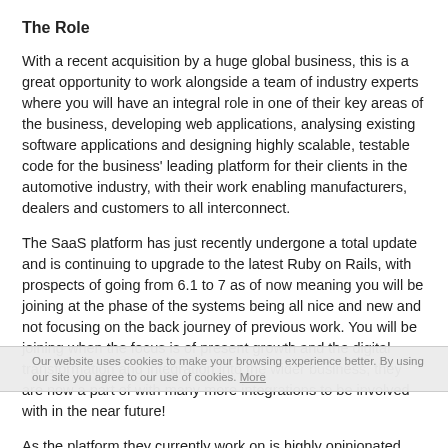The Role
With a recent acquisition by a huge global business, this is a great opportunity to work alongside a team of industry experts where you will have an integral role in one of their key areas of the business, developing web applications, analysing existing software applications and designing highly scalable, testable code for the business' leading platform for their clients in the automotive industry, with their work enabling manufacturers, dealers and customers to all interconnect.
The SaaS platform has just recently undergone a total update and is continuing to upgrade to the latest Ruby on Rails, with prospects of going from 6.1 to 7 as of now meaning you will be joining at the phase of the systems being all nice and new and not focusing on the back journey of previous work. You will be joining when the focus is of present growth and the digital transformation and integration into the wider business, they are now a part of with many more integrations to be involved with in the near future!
Our website uses cookies to make your browsing experience better. By using our site you agree to our use of cookies. More
As the platform they currently work on is highly opinionated, they are looking for someone who has strong experience working with Ruby on Rails that is confident to get stuck in right away. As of now, you will be working with 3 other developers so will have tons of autonomy with